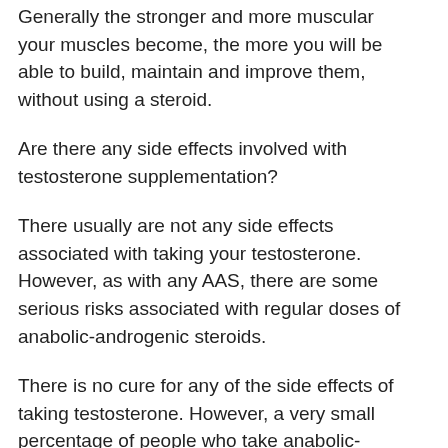important to get enough of the hormone to help build and maintain muscle mass. Generally the stronger and more muscular your muscles become, the more you will be able to build, maintain and improve them, without using a steroid.
Are there any side effects involved with testosterone supplementation?
There usually are not any side effects associated with taking your testosterone. However, as with any AAS, there are some serious risks associated with regular doses of anabolic-androgenic steroids.
There is no cure for any of the side effects of taking testosterone. However, a very small percentage of people who take anabolic-androgenic steroids report a few very unpleasant effects like: